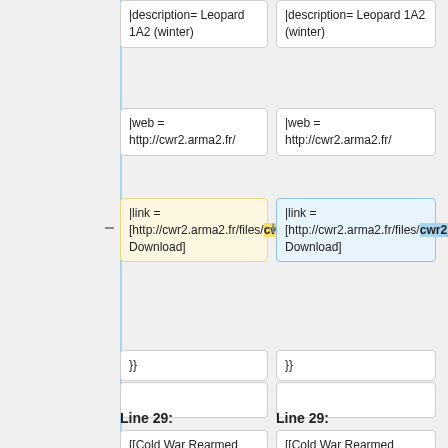|description= Leopard 1A2 (winter)
|description= Leopard 1A2 (winter)
|web = http://cwr2.arma2.fr/
|web = http://cwr2.arma2.fr/
|link = [http://cwr2.arma2.fr/files/cwr2_bw_v103.rar Download]
|link = [http://cwr2.arma2.fr/files/cwr2_expansion_bw_100116.zip Download]
}}
}}
Line 29:
Line 29:
[[Cold War Rearmed 2|Cold War Rearmed 2]]
[[Cold War Rearmed 2|Cold War Rearmed 2]]